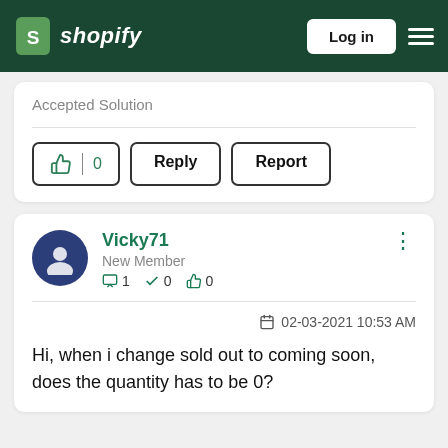Shopify — Log in
Accepted Solution
[Figure (screenshot): Action buttons row: thumbs up with count 0, Reply button, Report button]
Vicky71
New Member
1 post · 0 solutions · 0 likes
02-03-2021 10:53 AM
Hi, when i change sold out to coming soon, does the quantity has to be 0?